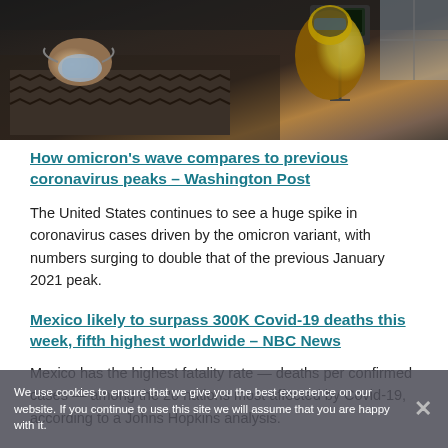[Figure (photo): Hospital scene showing a patient lying in a bed with a breathing mask, covered with a patterned blanket. A healthcare worker in yellow PPE gear is visible in the background near medical equipment and monitors.]
How omicron's wave compares to previous coronavirus peaks – Washington Post
The United States continues to see a huge spike in coronavirus cases driven by the omicron variant, with numbers surging to double that of the previous January 2021 peak.
Mexico likely to surpass 300K Covid-19 deaths this week, fifth highest worldwide – NBC News
Mexico has the highest fatality rate — deaths per confirmed cases — among the 20 nations most affected by Covid-19, according to a Johns Hopkins analysis.
We use cookies to ensure that we give you the best experience on our website. If you continue to use this site we will assume that you are happy with it.